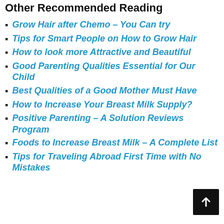Other Recommended Reading
Grow Hair after Chemo – You Can try
Tips for Smart People on How to Grow Hair
How to look more Attractive and Beautiful
Good Parenting Qualities Essential for Our Child
Best Qualities of a Good Mother Must Have
How to Increase Your Breast Milk Supply?
Positive Parenting – A Solution Reviews Program
Foods to Increase Breast Milk – A Complete List
Tips for Traveling Abroad First Time with No Mistakes